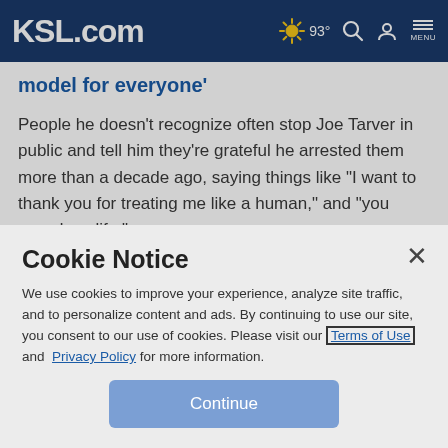KSL.com  93°  Search  Account  MENU
model for everyone'
People he doesn't recognize often stop Joe Tarver in public and tell him they're grateful he arrested them more than a decade ago, saying things like "I want to thank you for treating me like a human," and "you saved my life."
3. Medical marijuana legal in Utah, but not always
Cookie Notice
We use cookies to improve your experience, analyze site traffic, and to personalize content and ads. By continuing to use our site, you consent to our use of cookies. Please visit our Terms of Use and Privacy Policy for more information.
Continue